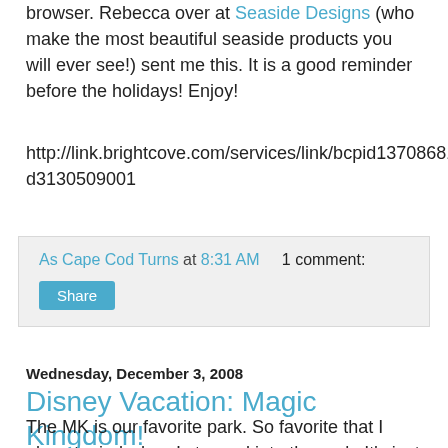browser. Rebecca over at Seaside Designs (who make the most beautiful seaside products you will ever see!) sent me this. It is a good reminder before the holidays! Enjoy!
http://link.brightcove.com/services/link/bcpid1370868150/bctid3130509001
As Cape Cod Turns at 8:31 AM   1 comment:
Share
Wednesday, December 3, 2008
Disney Vacation: Magic Kingdom!
The MK is our favorite park. So favorite that I almost cried when I stepped into the park. It's just THE happiest place on earth. The best was that it was decked out for Christmas which made it extra fun. I could have put in 100 or so pictures, but I picked some out and put them in a video. We went to Mickey's Magical Christmas too, which required another pass, but kept us in the park for free hot chocolate